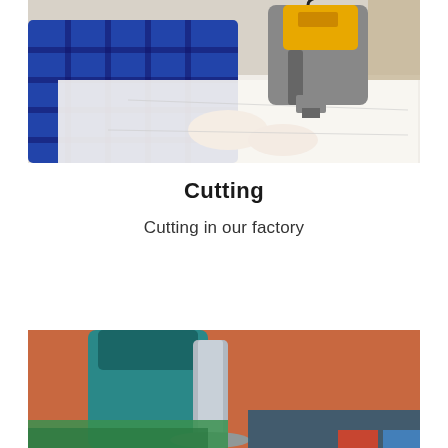[Figure (photo): A person in a blue plaid shirt operating a yellow electric fabric cutting machine on a large white fabric-covered cutting table in a factory setting.]
Cutting
Cutting in our factory
[Figure (photo): Close-up of an industrial sewing or cutting machine in teal/green color on a reddish-orange floor background with green fabric.]